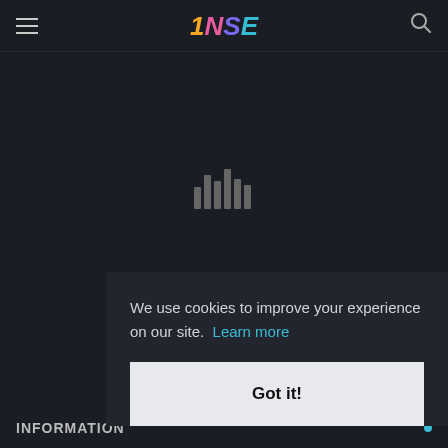NSE
[Figure (screenshot): Dark background loading area with a bar chart loading icon (gray vertical bars) centered in the middle of the page]
We use cookies to improve your experience on our site. Learn more
Got it!
INFORMATION